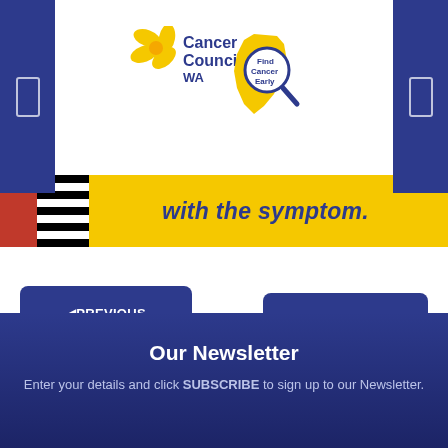[Figure (logo): Cancer Council WA logo with daffodil and 'Find Cancer Early' magnifying glass over WA map shape]
[Figure (illustration): Yellow banner with red and black-and-white striped sections on left, bold italic dark blue text reading 'with the symptom.']
◀PREVIOUS CHAMPION
NEXT CHAMPION▶
Our Newsletter
Enter your details and click SUBSCRIBE to sign up to our Newsletter.